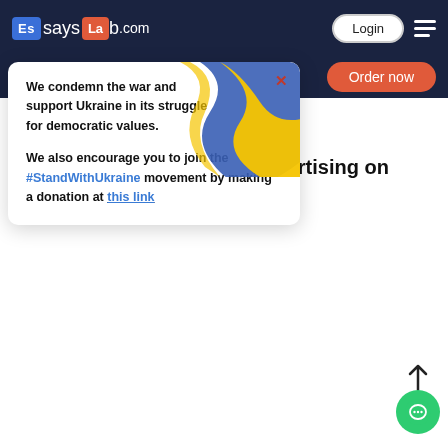EssaysLab.com — Login — Menu
[Figure (screenshot): EssaysLab.com website header with logo, login button, hamburger menu, and order now button on dark navy background]
We condemn the war and support Ukraine in its struggle for democratic values.

We also encourage you to join the #StandWithUkraine movement by making a donation at this link
The Psychoanalysis of Dorothy Gale
Stay-at-Home Mothers
Influence of Mass Media Advertising on Consumer Behavior